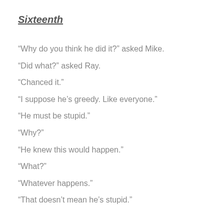Sixteenth
“Why do you think he did it?” asked Mike.
“Did what?” asked Ray.
“Chanced it.”
“I suppose he’s greedy. Like everyone.”
“He must be stupid.”
“Why?”
“He knew this would happen.”
“What?”
“Whatever happens.”
“That doesn’t mean he’s stupid.”